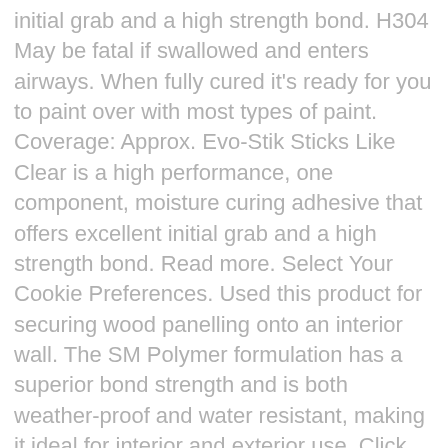initial grab and a high strength bond. H304 May be fatal if swallowed and enters airways. When fully cured it's ready for you to paint over with most types of paint. Coverage: Approx. Evo-Stik Sticks Like Clear is a high performance, one component, moisture curing adhesive that offers excellent initial grab and a high strength bond. Read more. Select Your Cookie Preferences. Used this product for securing wood panelling onto an interior wall. The SM Polymer formulation has a superior bond strength and is both weather-proof and water resistant, making it ideal for interior and exterior use. Click Image to Enlarge. Sticks Like 290ml White is rated 4.7 out of 5 by 66. 1 x EVO-STIK STICKS LIKE CLEAR 290ml. Select Click & Collect Depot. Arts and crafts sometimes require a bit of glue to add a special touch, from glitter to googly eyes. £9.42 inc VAT . Add to compare list. Evo-Stik Sticks Like Trade Only All Weather Clear Adhesive 290ml - 211928. £2.86 per 100ML. @media (max-width: 465px) { Evo-Stik 663824 Sticks Like All Weather Adhesive Clear 290ml. All branches open